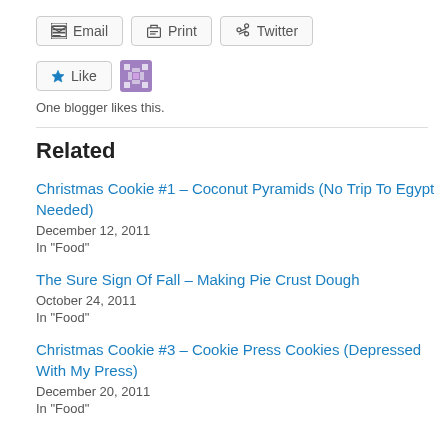Email
Print
Twitter
Like
One blogger likes this.
Related
Christmas Cookie #1 – Coconut Pyramids (No Trip To Egypt Needed)
December 12, 2011
In "Food"
The Sure Sign Of Fall – Making Pie Crust Dough
October 24, 2011
In "Food"
Christmas Cookie #3 – Cookie Press Cookies (Depressed With My Press)
December 20, 2011
In "Food"